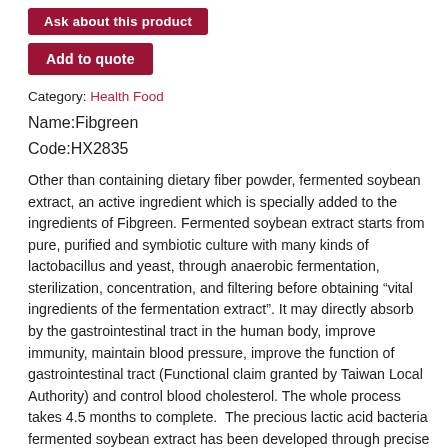Ask about this product
Add to quote
Category: Health Food
Name:Fibgreen
Code:HX2835
Other than containing dietary fiber powder, fermented soybean extract, an active ingredient which is specially added to the ingredients of Fibgreen. Fermented soybean extract starts from pure, purified and symbiotic culture with many kinds of lactobacillus and yeast, through anaerobic fermentation, sterilization, concentration, and filtering before obtaining “vital ingredients of the fermentation extract”. It may directly absorb by the gastrointestinal tract in the human body, improve immunity, maintain blood pressure, improve the function of gastrointestinal tract (Functional claim granted by Taiwan Local Authority) and control blood cholesterol. The whole process takes 4.5 months to complete.  The precious lactic acid bacteria fermented soybean extract has been developed through precise technology, having obtained 20 patents all over the world successively, which includes: China, USA, European Union,